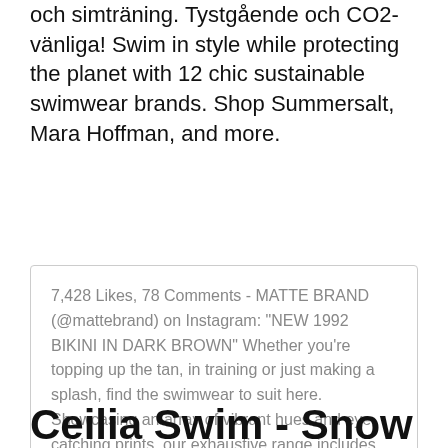och simträning. Tystgående och CO2-vänliga! Swim in style while protecting the planet with 12 chic sustainable swimwear brands. Shop Summersalt, Mara Hoffman, and more.
7,428 Likes, 78 Comments - MATTE BRAND (@mattebrand) on Instagram: "NEW 1992 BIKINI IN DARK BROWN" Whether you're topping up the tan, in training or just making a splash, find the swimwear to suit here. Showcasing an array of vibrant hues and eye-catching prints, our exhaustive range includes swimsuits, bikini sets, tankinis and swim shorts.
Ceilia Swim - Snow